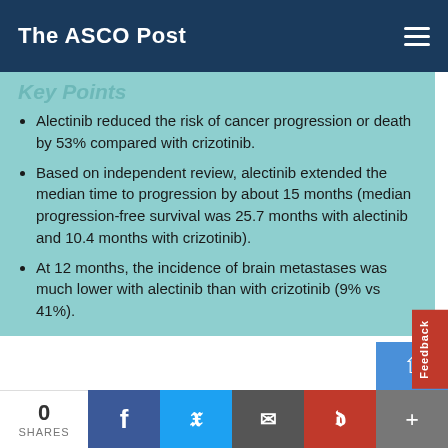The ASCO Post
Key Points
Alectinib reduced the risk of cancer progression or death by 53% compared with crizotinib.
Based on independent review, alectinib extended the median time to progression by about 15 months (median progression-free survival was 25.7 months with alectinib and 10.4 months with crizotinib).
At 12 months, the incidence of brain metastases was much lower with alectinib than with crizotinib (9% vs 41%).
Findings from a phase III clinical trial point to a more effective initial treatment for patients with ALK-positive non–small cell lung cancer (NSCLC). Compared to the current standard of care, crizotinib (Xalkori), the newer ALK inhibitor alectinib (Alecensa) halted cancer growth for a median of 15 months longer and caused fewer severe side